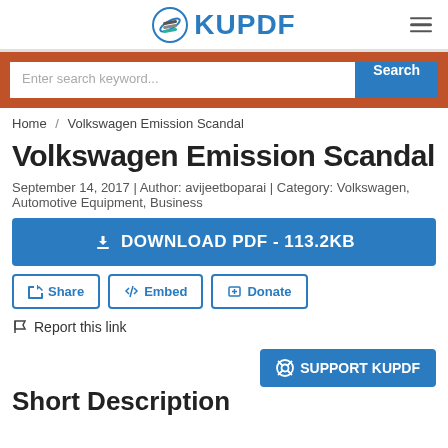KUPDF
Enter search keyword... Search
Home / Volkswagen Emission Scandal
Volkswagen Emission Scandal
September 14, 2017 | Author: avijeetboparai | Category: Volkswagen, Automotive Equipment, Business
DOWNLOAD PDF - 113.2KB
Share
Embed
Donate
Report this link
SUPPORT KUPDF
Short Description